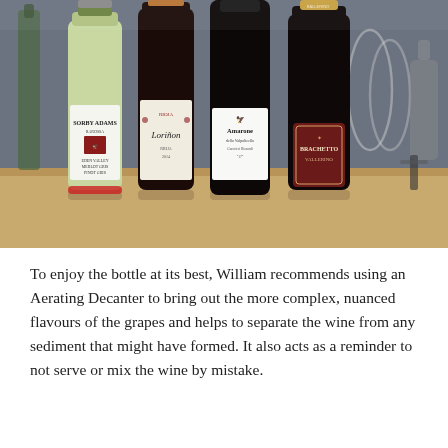[Figure (photo): Four wine bottles standing on a wooden table: Sorby Adams (white wine, Eden Valley Merlot/Pinot Gris 2012), Loriñon Rioja (red), Amarone della Valpolicella Guerrieri Rizzardi (red), and Brachetto Vallerino (sparkling red). Wine glasses and a corkscrew visible in background.]
To enjoy the bottle at its best, William recommends using an Aerating Decanter to bring out the more complex, nuanced flavours of the grapes and helps to separate the wine from any sediment that might have formed. It also acts as a reminder to not serve or mix the wine by mistake.